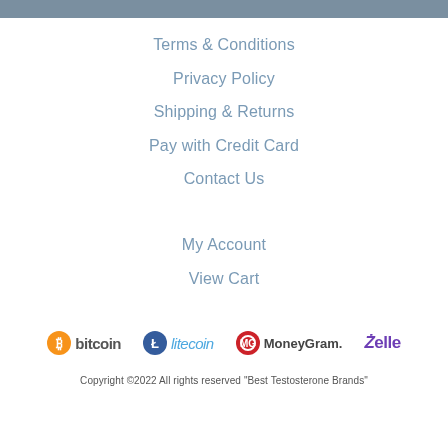Terms & Conditions
Privacy Policy
Shipping & Returns
Pay with Credit Card
Contact Us
My Account
View Cart
[Figure (logo): Bitcoin, Litecoin, MoneyGram, Zelle payment logos]
Copyright ©2022 All rights reserved "Best Testosterone Brands"